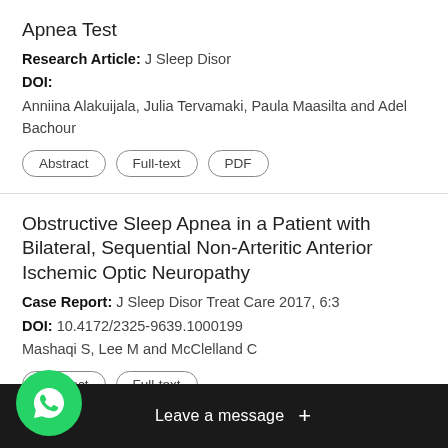Apnea Test
Research Article: J Sleep Disor
DOI:
Anniina Alakuijala, Julia Tervamaki, Paula Maasilta and Adel Bachour
Obstructive Sleep Apnea in a Patient with Bilateral, Sequential Non-Arteritic Anterior Ischemic Optic Neuropathy
Case Report: J Sleep Disor Treat Care 2017, 6:3
DOI: 10.4172/2325-9639.1000199
Mashaqi S, Lee M and McClelland C
Nocturnal Arousals: Stirred, Not Shaken: A ... deration of the EEG and sleep
... Care 2017, 6:1
DOI:
Haja...